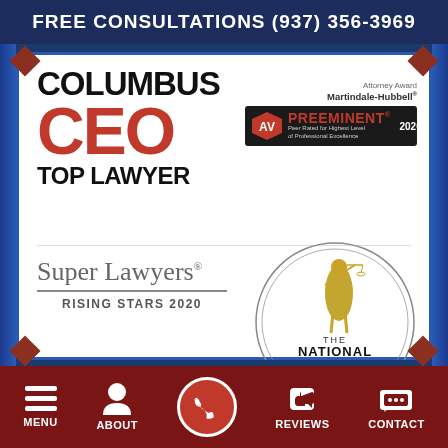FREE CONSULTATIONS (937) 356-3969
[Figure (logo): Columbus CEO Top Lawyer award logo with red CEO text]
[Figure (logo): Martindale-Hubbell AV Preeminent 2020 attorney award badge]
[Figure (logo): Super Lawyers Rising Stars 2020 badge]
[Figure (logo): The National Trial Lawyers Top 100 Trial Lawyers circular badge with Lady Justice]
MENU   ABOUT   [phone]   REVIEWS   CONTACT